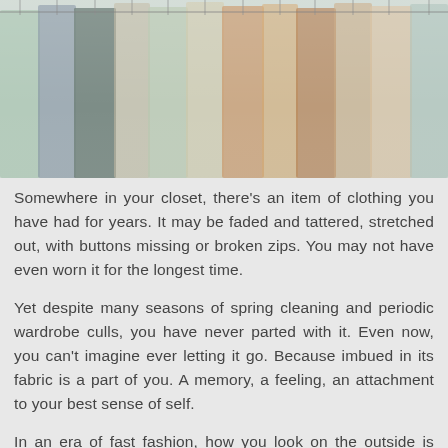[Figure (photo): Colorful clothes hanging on a rack, viewed from below, in muted pastel and earthy tones.]
Somewhere in your closet, there's an item of clothing you have had for years. It may be faded and tattered, stretched out, with buttons missing or broken zips. You may not have even worn it for the longest time.
Yet despite many seasons of spring cleaning and periodic wardrobe culls, you have never parted with it. Even now, you can't imagine ever letting it go. Because imbued in its fabric is a part of you. A memory, a feeling, an attachment to your best sense of self.
In an era of fast fashion, how you look on the outside is given precedence. Keeping up with the latest styles and being on trend is often the calling card of fashionable society.